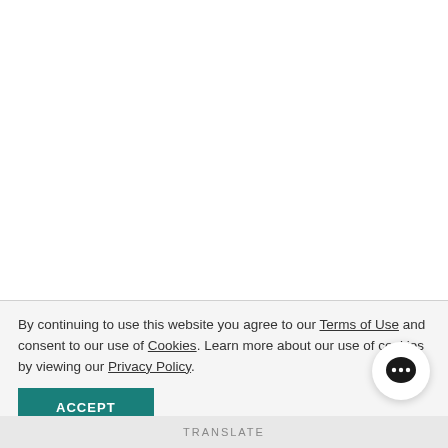By continuing to use this website you agree to our Terms of Use and consent to our use of Cookies. Learn more about our use of cookies by viewing our Privacy Policy.
ACCEPT
[Figure (other): Chat bubble icon with ellipsis (three dots) inside, white circle background]
TRANSLATE